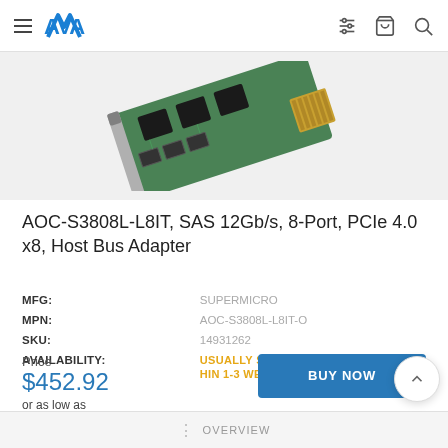AVA [logo] — navigation header with hamburger menu, filter, cart, search icons
[Figure (photo): PCIe host bus adapter card (green circuit board with bracket), shown at an angle on a light gray background]
AOC-S3808L-L8IT, SAS 12Gb/s, 8-Port, PCIe 4.0 x8, Host Bus Adapter
| MFG: | SUPERMICRO |
| MPN: | AOC-S3808L-L8IT-O |
| SKU: | 14931262 |
| AVAILABILITY: | USUALLY SHIPS WITHIN 1-3 WEEKS ? |
Price
$452.92
or as low as
BUY NOW
OVERVIEW